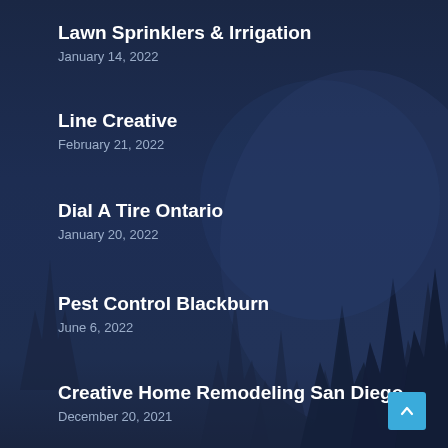Lawn Sprinklers & Irrigation
January 14, 2022
Line Creative
February 21, 2022
Dial A Tire Ontario
January 20, 2022
Pest Control Blackburn
June 6, 2022
Creative Home Remodeling San Diego
December 20, 2021